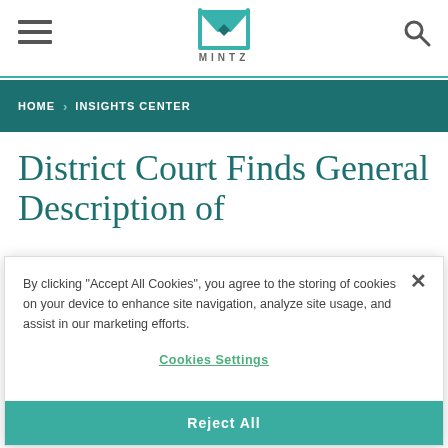MINTZ logo header with hamburger menu and search icon
HOME > INSIGHTS CENTER
District Court Finds General Description of
By clicking "Accept All Cookies", you agree to the storing of cookies on your device to enhance site navigation, analyze site usage, and assist in our marketing efforts.
Cookies Settings
Reject All